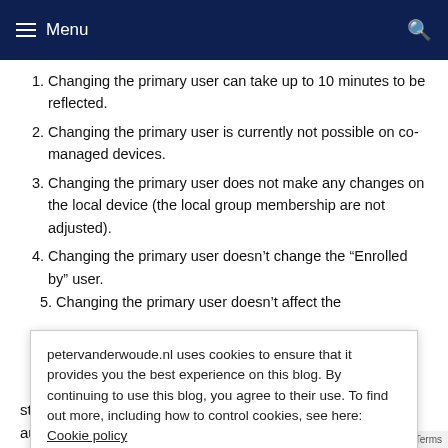Menu
Changing the primary user can take up to 10 minutes to be reflected.
Changing the primary user is currently not possible on co-managed devices.
Changing the primary user does not make any changes on the local device (the local group membership are not adjusted).
Changing the primary user doesn't change the “Enrolled by” user.
Changing the primary user doesn’t affect the…
petervanderwoude.nl uses cookies to ensure that it provides you the best experience on this blog. By continuing to use this blog, you agree to their use. To find out more, including how to control cookies, see here: Cookie policy
steps, I’ll also have a quick look at the Graph API for automating these steps. The steps for removing the…